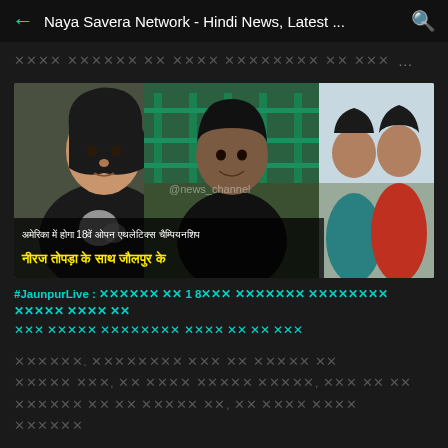← Naya Savera Network - Hindi News, Latest ... 🔍
× × × × × × × × × × × × × × × × × × × × × × × × × × × ×  ...
[Figure (photo): Photo of athletes with Hindi text overlay: अमेरिका में होगा 18वें ओपन एथलेटिक्स चैम्पियनशिप and नीरज तोपड़ा के साथ जौलपुर के]
#JaunpurLive : अमेरिका में 18वीं ओपन एथलेटिक्स चैम्पियनशिप खेलने जायेंगे औ
जौ जौपुर एथलेटिक्स खेल के भी खेल
× × × × × × × × × × × × × × × × × × × ×
× × × × × × × , × × × × × × × × × × × , × × × × × ×
× × × × × × × × × × × × × × × , × × × × × × × ×
× × × × × ×